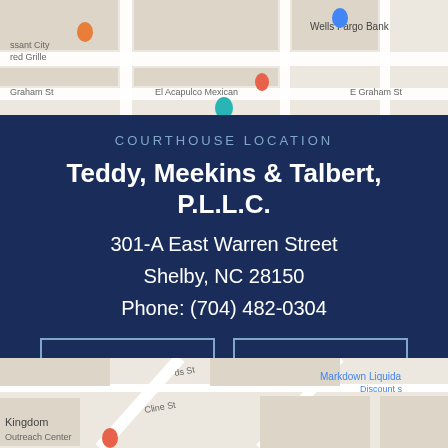[Figure (map): Google Maps screenshot showing street map around courthouse location with Wells Fargo Bank, El Acapulco Mexican restaurant visible]
COURTHOUSE LOCATION
Teddy, Meekins & Talbert, P.L.L.C.
301-A East Warren Street
Shelby, NC 28150
Phone: (704) 482-0304
DIRECTIONS
OFFICE HOURS
[Figure (map): Google Maps screenshot showing street map with Cline St, Markdown Liquidators Discount store, Kingdom Outreach Center visible]